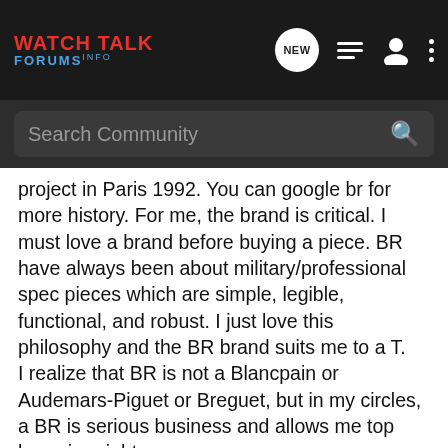WATCH TALK FORUMS INFO
Search Community
project in Paris 1992. You can google br for more history. For me, the brand is critical. I must love a brand before buying a piece. BR have always been about military/professional spec pieces which are simple, legible, functional, and robust. I just love this philosophy and the BR brand suits me to a T.
I realize that BR is not a Blancpain or Audemars-Piguet or Breguet, but in my circles, a BR is serious business and allows me top bragging rights.
The BR02
So BR make many gorgeous pieces. Why this particular model?
I had been shopping for a "statement piece" for almost a year and had originally zeroed in on the square BR instrument piece. As a tried it on at the store, I noticed the BR02 and just asked